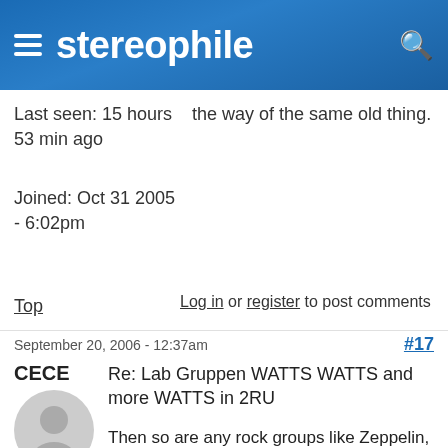stereophile
Last seen: 15 hours 53 min ago
Joined: Oct 31 2005 - 6:02pm
the way of the same old thing.
Top
Log in or register to post comments
September 20, 2006 - 12:37am
#17
CECE
Re: Lab Gruppen WATTS WATTS and more WATTS in 2RU
Then so are any rock groups like Zeppelin, Rolling Stones